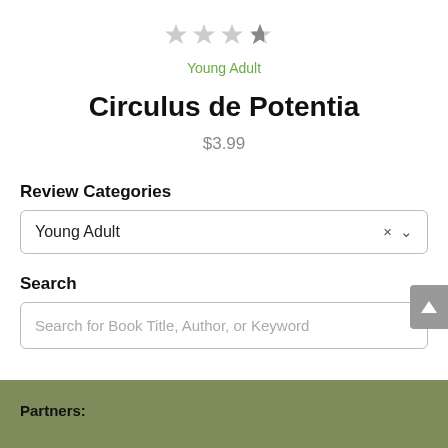[Figure (other): Star rating showing approximately 2.5 out of 5 stars in gray]
Young Adult
Circulus de Potentia
$3.99
Review Categories
Young Adult
Search
Search for Book Title, Author, or Keyword
Partners: